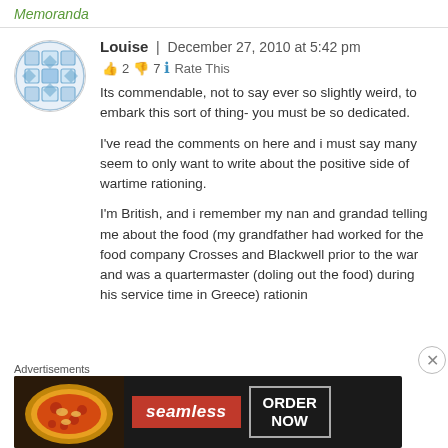Memoranda
Louise | December 27, 2010 at 5:42 pm
👍 2 👎 7 ℹ Rate This
Its commendable, not to say ever so slightly weird, to embark this sort of thing- you must be so dedicated.
I've read the comments on here and i must say many seem to only want to write about the positive side of wartime rationing.
I'm British, and i remember my nan and grandad telling me about the food (my grandfather had worked for the food company Crosses and Blackwell prior to the war and was a quartermaster (doling out the food) during his service time in Greece) rationin
Advertisements